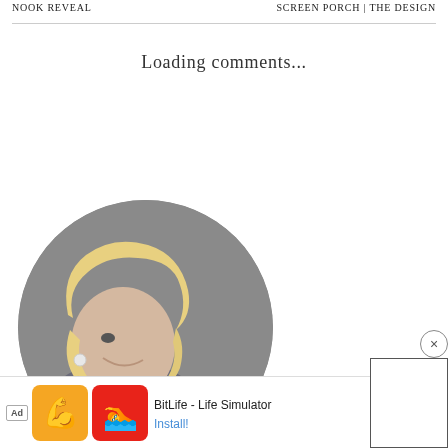NOOK REVEAL | SCREEN PORCH | THE DESIGN
Loading comments...
[Figure (photo): Circular profile photo of a smiling blonde woman with wavy hair, shown in profile, against a grey background]
[Figure (infographic): Advertisement bar at bottom: Ad label, cheating emoji icon, BitLife app icon, text BitLife - Life Simulator, Install! link in blue]